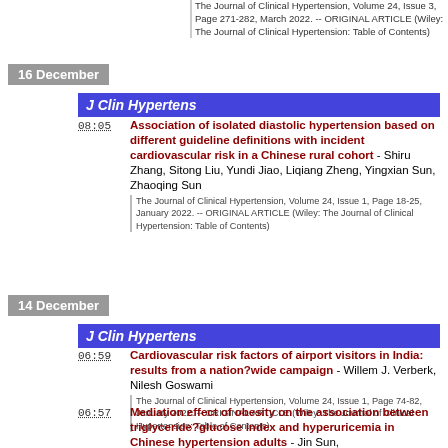The Journal of Clinical Hypertension, Volume 24, Issue 3, Page 271-282, March 2022. -- ORIGINAL ARTICLE (Wiley: The Journal of Clinical Hypertension: Table of Contents)
16 December
J Clin Hypertens
08:05 Association of isolated diastolic hypertension based on different guideline definitions with incident cardiovascular risk in a Chinese rural cohort - Shiru Zhang, Sitong Liu, Yundi Jiao, Liqiang Zheng, Yingxian Sun, Zhaoqing Sun
The Journal of Clinical Hypertension, Volume 24, Issue 1, Page 18-25, January 2022. -- ORIGINAL ARTICLE (Wiley: The Journal of Clinical Hypertension: Table of Contents)
14 December
J Clin Hypertens
06:59 Cardiovascular risk factors of airport visitors in India: results from a nation?wide campaign - Willem J. Verberk, Nilesh Goswami
The Journal of Clinical Hypertension, Volume 24, Issue 1, Page 74-82, January 2022. -- ORIGINAL ARTICLE (Wiley: The Journal of Clinical Hypertension: Table of Contents)
06:57 Mediation effect of obesity on the association between triglyceride?glucose index and hyperuricemia in Chinese hypertension adults - Jin Sun,